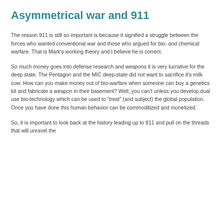Asymmetrical war and 911
The reason 911 is still so important is because it signified a struggle between the forces who wanted conventional war and those who argued for bio- and chemical warfare.  That is Mark's working theory and I believe he is correct.
So much money goes into defense research and weapons it is very lucrative for the deep state.  The Pentagon and the MIC deep-state did not want to sacrifice it's milk cow.   How can you make money out of bio-warfare when someone can buy a genetics kit and fabricate a weapon in their basement?   Well, you can't unless you develop dual use bio-technology which can be used to “treat”  (and subject) the global population.  Once you have done this human behavior can be commoditized and monetized.
So, it is important to look back at the history leading up to 911 and pull on the threads that will unravel the